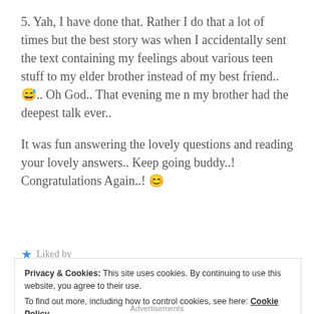5. Yah, I have done that. Rather I do that a lot of times but the best story was when I accidentally sent the text containing my feelings about various teen stuff to my elder brother instead of my best friend.. 😅.. Oh God.. That evening me n my brother had the deepest talk ever..
It was fun answering the lovely questions and reading your lovely answers.. Keep going buddy..! Congratulations Again..! 😊
Privacy & Cookies: This site uses cookies. By continuing to use this website, you agree to their use. To find out more, including how to control cookies, see here: Cookie Policy
Close and accept
Advertisements